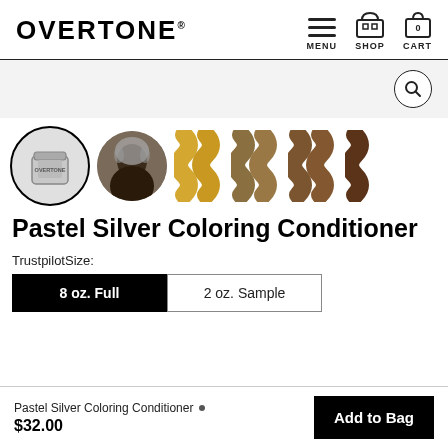OVERTONE
[Figure (screenshot): Navigation icons: hamburger menu icon labeled MENU, shop/storefront icon labeled SHOP, shopping bag icon with 0 labeled CART]
[Figure (screenshot): Search bar area with magnifying glass search icon in a circle on the right side]
[Figure (photo): Row of product thumbnail images: selected product jar in circle with bold border, woman with silver hair in circle, and several wavy hair swatch images in blonde, brown/blonde, and dark brown shades]
Pastel Silver Coloring Conditioner
TrustpilotSize:
8 oz. Full
2 oz. Sample
Pastel Silver Coloring Conditioner • $32.00
Add to Bag